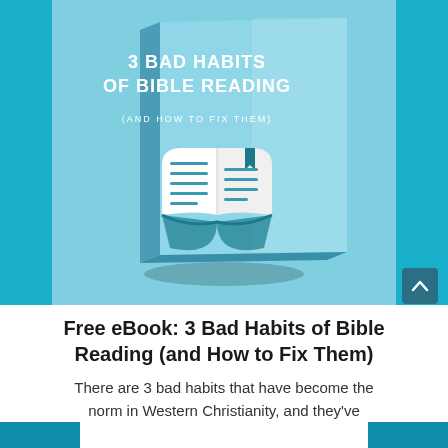[Figure (illustration): Book cover of '3 Bad Habits of Bible Reading (and How to Fix Them)' — light blue cover with an open book icon with a bookmark, displayed as a 3D tilted book with shadow, set against teal side panels and a light blue background.]
Free eBook: 3 Bad Habits of Bible Reading (and How to Fix Them)
There are 3 bad habits that have become the norm in Western Christianity, and they've